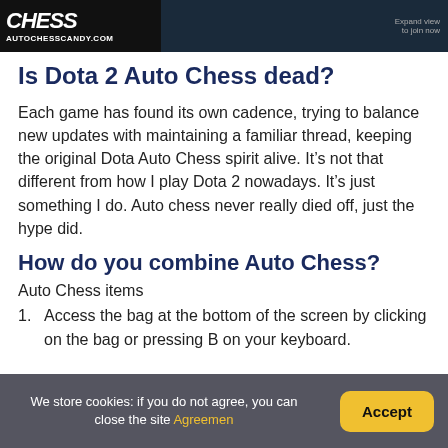[Figure (screenshot): Website banner with Auto Chess Candy logo on left (autochesscandy.com) and game screenshots on right]
Is Dota 2 Auto Chess dead?
Each game has found its own cadence, trying to balance new updates with maintaining a familiar thread, keeping the original Dota Auto Chess spirit alive. It’s not that different from how I play Dota 2 nowadays. It’s just something I do. Auto chess never really died off, just the hype did.
How do you combine Auto Chess?
Auto Chess items
1. Access the bag at the bottom of the screen by clicking on the bag or pressing B on your keyboard.
We store cookies: if you do not agree, you can close the site Agreemen